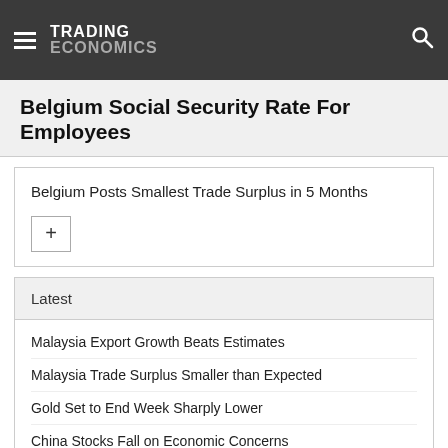TRADING ECONOMICS
Belgium Social Security Rate For Employees
Belgium Posts Smallest Trade Surplus in 5 Months
Latest
Malaysia Export Growth Beats Estimates
Malaysia Trade Surplus Smaller than Expected
Gold Set to End Week Sharply Lower
China Stocks Fall on Economic Concerns
South Korea 10Y Bond Yield Hits 4-week High
Indonesia Q2 Current Account Swings to Surplus
Oil Heads for Modest Weekly Loss